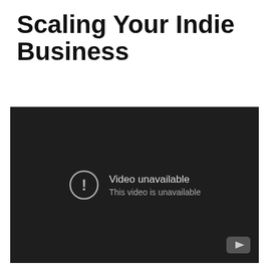Scaling Your Indie Business
By Peter Steinberger - (all videos) - @steipete
At ⌘R Conf 2014
Tags: indie business
[Figure (screenshot): Embedded video player showing 'Video unavailable - This video is unavailable' message on a dark background with a YouTube play button icon in the bottom right corner.]